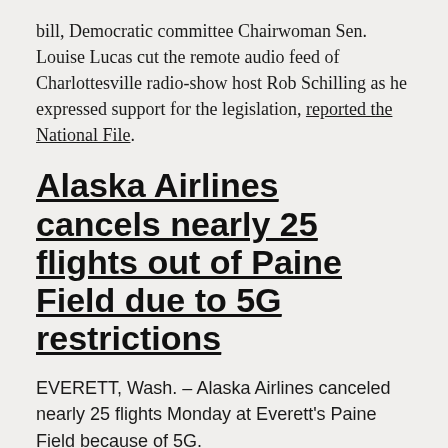bill, Democratic committee Chairwoman Sen. Louise Lucas cut the remote audio feed of Charlottesville radio-show host Rob Schilling as he expressed support for the legislation, reported the National File.
Alaska Airlines cancels nearly 25 flights out of Paine Field due to 5G restrictions
EVERETT, Wash. – Alaska Airlines canceled nearly 25 flights Monday at Everett's Paine Field because of 5G.
The airline confirmed 23 flights into and out of Paine Field were canceled because FAA restrictions mean the